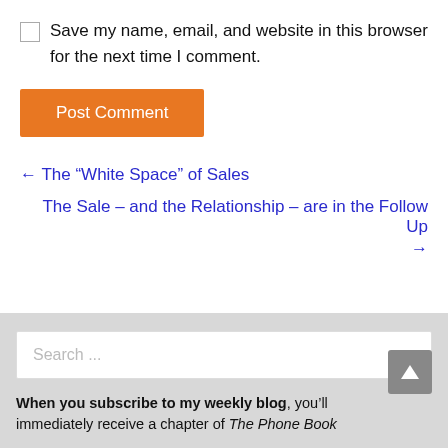Save my name, email, and website in this browser for the next time I comment.
Post Comment
← The “White Space” of Sales
The Sale – and the Relationship – are in the Follow Up →
Search ...
When you subscribe to my weekly blog, you’ll immediately receive a chapter of The Phone Book